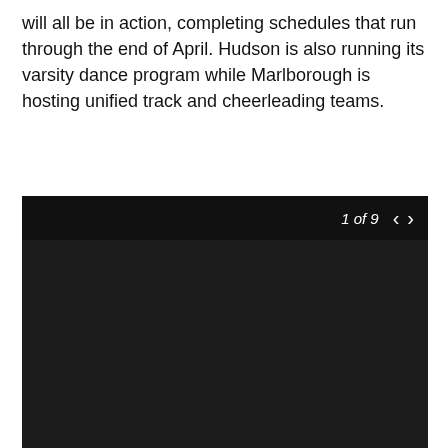will all be in action, completing schedules that run through the end of April. Hudson is also running its varsity dance program while Marlborough is hosting unified track and cheerleading teams.
(Photos by/Jesse Kucewicz)
[Figure (photo): Photo viewer widget showing '1 of 9' with navigation arrows, displaying a dark/black image as photo 1 of a 9-photo gallery.]